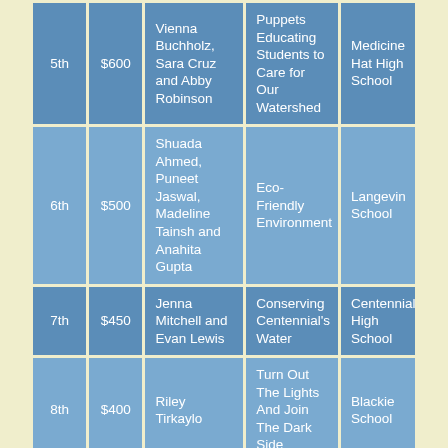| Place | Amount | Names | Project | School |
| --- | --- | --- | --- | --- |
| 5th | $600 | Vienna Buchholz, Sara Cruz and Abby Robinson | Puppets Educating Students to Care for Our Watershed | Medicine Hat High School |
| 6th | $500 | Shuada Ahmed, Puneet Jaswal, Madeline Tainsh and Anahita Gupta | Eco-Friendly Environment | Langevin School |
| 7th | $450 | Jenna Mitchell and Evan Lewis | Conserving Centennial's Water | Centennial High School |
| 8th | $400 | Riley Tirkaylo | Turn Out The Lights And Join The Dark Side | Blackie School |
| 9th | $350 | Maddie Catling and Sarah Abt | Game For Change | St. James School |
|  |  |  | Compost |  |